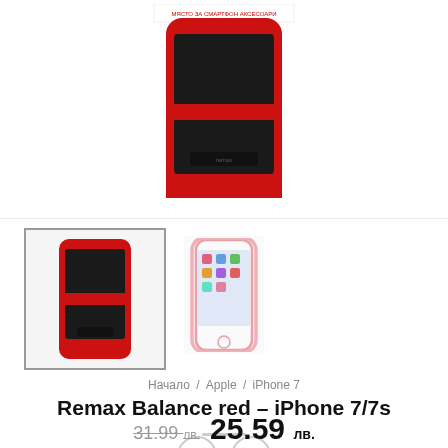[Figure (photo): Product photo: Remax Balance red iPhone case — red and black hard case, top portion visible with a 'место за смартфон аксесоари' banner at top]
[Figure (photo): Thumbnail 1: Red/black Remax Balance case, selected (with border)]
[Figure (photo): Thumbnail 2: iPhone 7 with pink/rose-gold Remax Balance case fitted on it]
Начало / Apple / iPhone 7
Remax Balance red – iPhone 7/7s
31.99 лв.  25.59 лв.